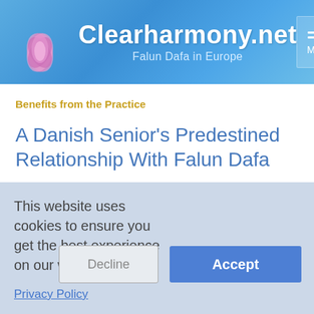Clearharmony.net — Falun Dafa in Europe
Benefits from the Practice
A Danish Senior's Predestined Relationship With Falun Dafa
2007-06-04    By a Falun Gong practitioner from Denmark
This website uses cookies to ensure you get the best experience on our website.
Privacy Policy